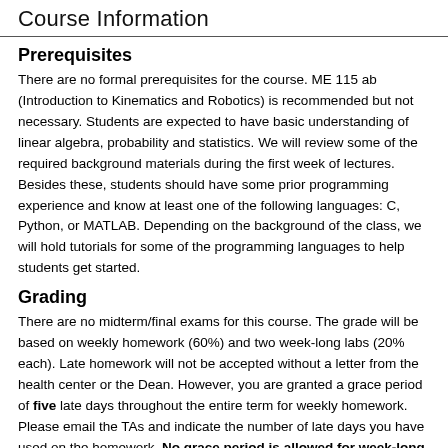Course Information
Prerequisites
There are no formal prerequisites for the course. ME 115 ab (Introduction to Kinematics and Robotics) is recommended but not necessary. Students are expected to have basic understanding of linear algebra, probability and statistics. We will review some of the required background materials during the first week of lectures. Besides these, students should have some prior programming experience and know at least one of the following languages: C, Python, or MATLAB. Depending on the background of the class, we will hold tutorials for some of the programming languages to help students get started.
Grading
There are no midterm/final exams for this course. The grade will be based on weekly homework (60%) and two week-long labs (20% each). Late homework will not be accepted without a letter from the health center or the Dean. However, you are granted a grace period of five late days throughout the entire term for weekly homework. Please email the TAs and indicate the number of late days you have used on the homework. No grace period is allowed for week-long labs.
Homework: Homework is usually due in one week after it is assigned. You can choose to turn in a hard copy in class or send an electronic